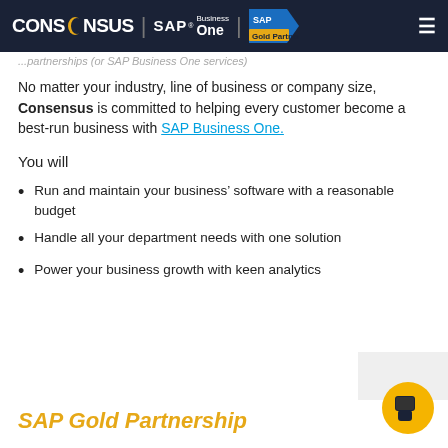CONSENSUS | SAP Business One | SAP Gold Partner
...partnerships (or SAP Business One services)
No matter your industry, line of business or company size, Consensus is committed to helping every customer become a best-run business with SAP Business One.
You will
Run and maintain your business’ software with a reasonable budget
Handle all your department needs with one solution
Power your business growth with keen analytics
SAP Gold Partnership